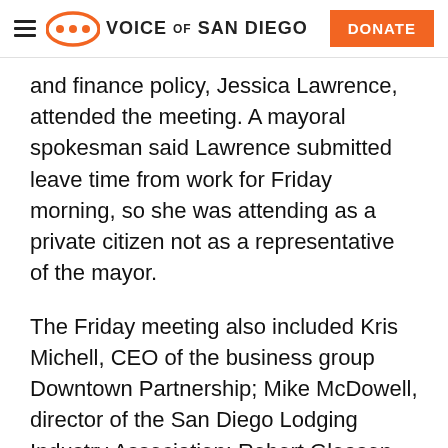Voice of San Diego
and finance policy, Jessica Lawrence, attended the meeting. A mayoral spokesman said Lawrence submitted leave time from work for Friday morning, so she was attending as a private citizen not as a representative of the mayor.
The Friday meeting also included Kris Michell, CEO of the business group Downtown Partnership; Mike McDowell, director of the San Diego Lodging Industry Association; Robert Gleason, CEO of Evans Hotels; Murtaza Baxamusa, policy head for the San Diego Building and Construction Trades; Rick Bates